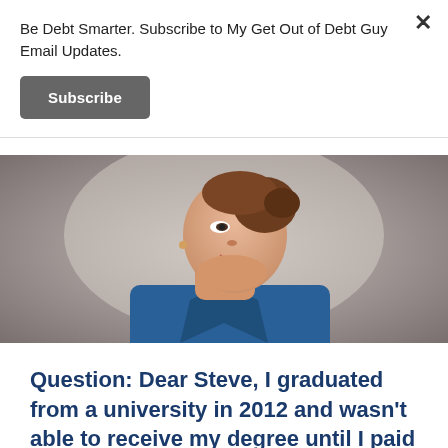Be Debt Smarter. Subscribe to My Get Out of Debt Guy Email Updates.
Subscribe
[Figure (photo): Young woman in a blue shirt looking upward against a grey background, hair in a bun]
Question: Dear Steve, I graduated from a university in 2012 and wasn't able to receive my degree until I paid my debt I owe to the college and now they want to take the…